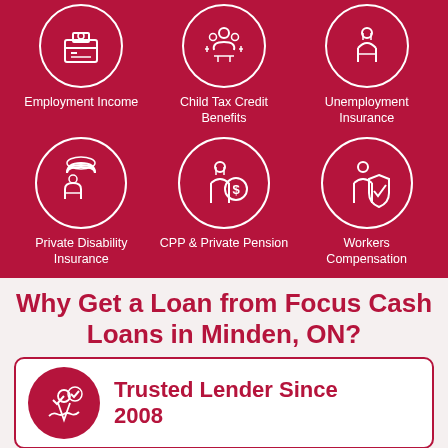[Figure (infographic): Three circular icons on crimson background: Employment Income (person at desk), Child Tax Credit Benefits (family with children), Unemployment Insurance (person figure)]
[Figure (infographic): Three circular icons on crimson background: Private Disability Insurance (person under umbrella), CPP & Private Pension (person with coin), Workers Compensation (person with shield)]
Why Get a Loan from Focus Cash Loans in Minden, ON?
[Figure (infographic): Card with dark red circular icon showing handshake with checkmark, labeled Trusted Lender Since 2008]